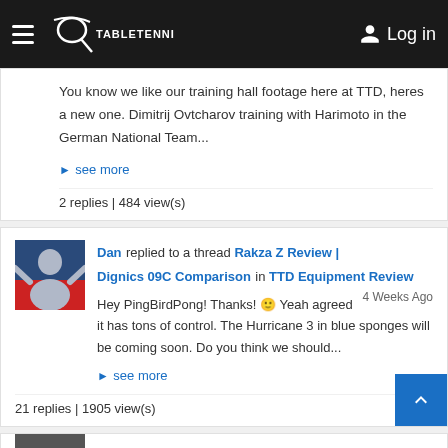TableTennisDaily - Log in
You know we like our training hall footage here at TTD, heres a new one. Dimitrij Ovtcharov training with Harimoto in the German National Team...
see more
2 replies | 484 view(s)
Dan replied to a thread Rakza Z Review | Dignics 09C Comparison in TTD Equipment Review 4 Weeks Ago
Hey PingBirdPong! Thanks! 😊 Yeah agreed it has tons of control. The Hurricane 3 in blue sponges will be coming soon. Do you think we should...
see more
21 replies | 1905 view(s)